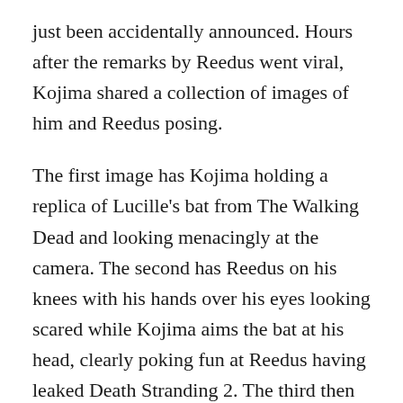just been accidentally announced. Hours after the remarks by Reedus went viral, Kojima shared a collection of images of him and Reedus posing.
The first image has Kojima holding a replica of Lucille's bat from The Walking Dead and looking menacingly at the camera. The second has Reedus on his knees with his hands over his eyes looking scared while Kojima aims the bat at his head, clearly poking fun at Reedus having leaked Death Stranding 2. The third then has the two with their arms around each other, making it clear that it's all in good fun and that Kojima isn't annoyed that Reedus mentioned the project early.
If that wasn't enough to tell you that this is a direct